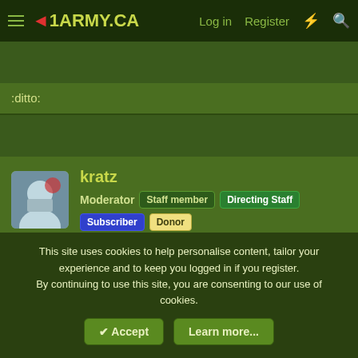4ARMY.CA  Log in  Register
:ditto:
kratz
Moderator  Staff member  Directing Staff  Subscriber  Donor
18 Apr 2013  #5
Incredible.

Thank you for sharing.
Danjanou
Army.ca Fixture
This site uses cookies to help personalise content, tailor your experience and to keep you logged in if you register.
By continuing to use this site, you are consenting to our use of cookies.
Accept  Learn more...